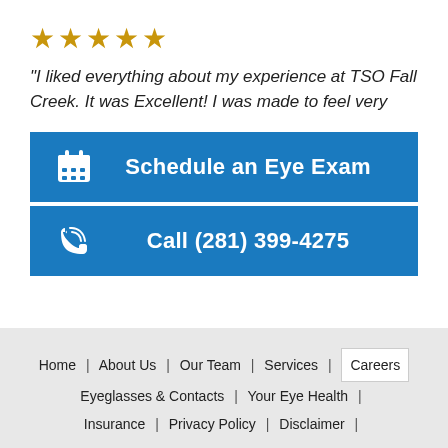★★★★★
"I liked everything about my experience at TSO Fall Creek. It was Excellent! I was made to feel very
Schedule an Eye Exam
Call (281) 399-4275
Home | About Us | Our Team | Services | Careers | Eyeglasses & Contacts | Your Eye Health | Insurance | Privacy Policy | Disclaimer |